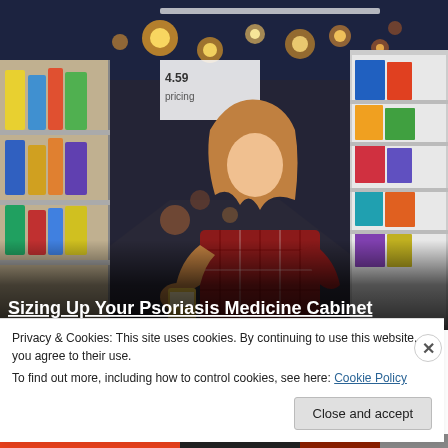[Figure (photo): A young woman with long brown hair wearing a red plaid shirt, browsing products on a pharmacy/store shelf aisle. Store shelves visible on both sides with various packaged products. Bokeh lights visible in background ceiling.]
Sizing Up Your Psoriasis Medicine Cabinet
Privacy & Cookies: This site uses cookies. By continuing to use this website, you agree to their use.
To find out more, including how to control cookies, see here: Cookie Policy
Close and accept